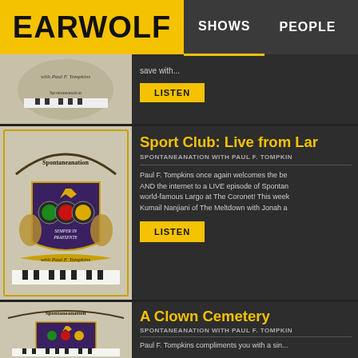EARWOLF | SHOWS | PEOPLE
[Figure (logo): Earwolf logo on yellow background]
save with...
LISTEN
Sport Club: Live from Lar
SPONTANEANATION WITH PAUL F. TOMPKIN
Paul F. Tompkins once again welcomes the be AND the internet to a LIVE episode of Spontan world-famous Largo at The Coronet! This week Kumail Nanjiani of The Meltdown with Jonah a
LISTEN
[Figure (illustration): Spontaneanation with Paul F. Tompkins podcast logo — heraldic shield with traffic lights and griffins]
A Clown Cemetery
SPONTANEANATION WITH PAUL F. TOMPKIN
Paul F. Tompkins compliments you with a sin...
[Figure (illustration): Spontaneanation with Paul F. Tompkins podcast logo]